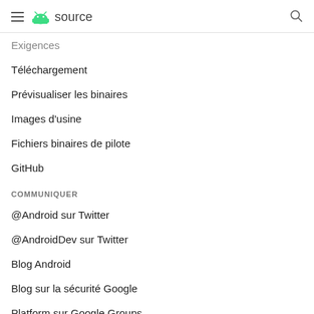≡ android source
Exigences
Téléchargement
Prévisualiser les binaires
Images d'usine
Fichiers binaires de pilote
GitHub
COMMUNIQUER
@Android sur Twitter
@AndroidDev sur Twitter
Blog Android
Blog sur la sécurité Google
Platform sur Google Groups
Building...